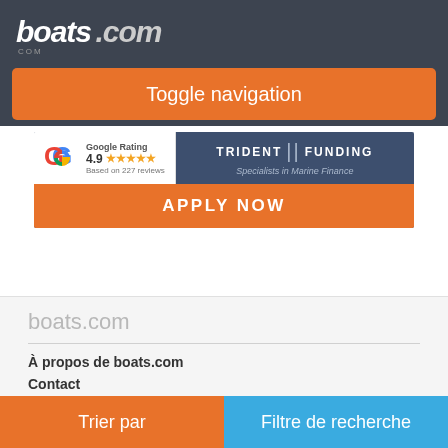boats .com
Toggle navigation
[Figure (screenshot): Trident Funding marine finance advertisement banner with Google Rating 4.9 stars based on 227 reviews, and an APPLY NOW button]
boats.com
À propos de boats.com
Contact
Trier par
Filtre de recherche